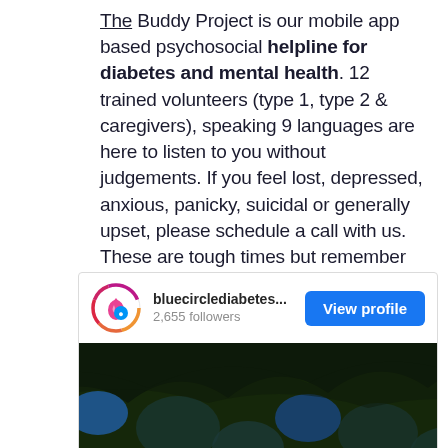The Buddy Project is our mobile app based psychosocial helpline for diabetes and mental health. 12 trained volunteers (type 1, type 2 & caregivers), speaking 9 languages are here to listen to you without judgements. If you feel lost, depressed, anxious, panicky, suicidal or generally upset, please schedule a call with us. These are tough times but remember you are NOT alone, your community stands with you.
[Figure (screenshot): Instagram profile card for bluecirclediabetes with 2,655 followers and a View profile button, below which is a decorative floral image with blue, yellow, and dark tones.]